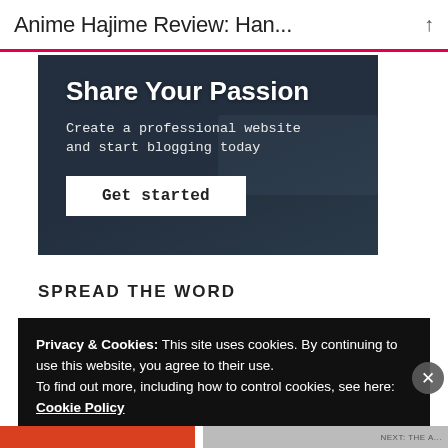Anime Hajime Review: Han...
[Figure (screenshot): Advertisement banner with dark blue overlay background. Large white bold text reads 'Share Your Passion'. Below, smaller white monospace text reads 'Create a professional website and start blogging today'. A white button labeled 'Get started' in bold dark text is below that.]
SPREAD THE WORD
Privacy & Cookies: This site uses cookies. By continuing to use this website, you agree to their use. To find out more, including how to control cookies, see here: Cookie Policy
Close and accept